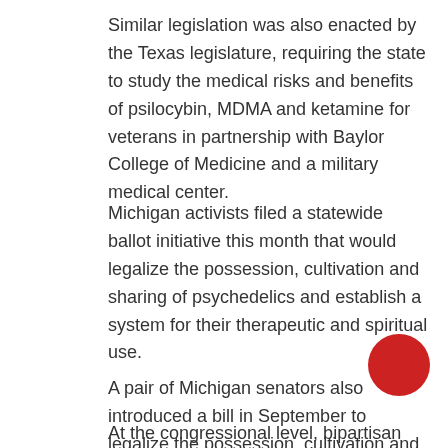Similar legislation was also enacted by the Texas legislature, requiring the state to study the medical risks and benefits of psilocybin, MDMA and ketamine for veterans in partnership with Baylor College of Medicine and a military medical center.
Michigan activists filed a statewide ballot initiative this month that would legalize the possession, cultivation and sharing of psychedelics and establish a system for their therapeutic and spiritual use.
A pair of Michigan senators also introduced a bill in September to legalize the possession, cultivation and delivery of an array of plant and mushroom-derived psychedelics like psilocybin and mescalin
At the congressional level, bipartisan lawmakers